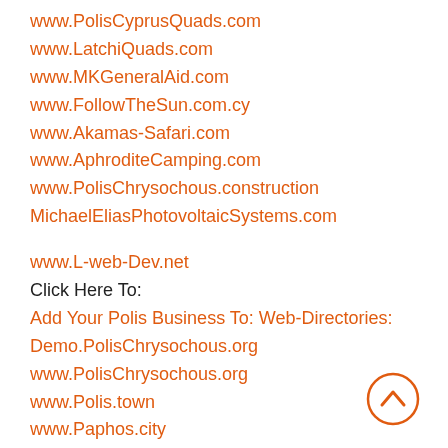www.PolisCyprusQuads.com
www.LatchiQuads.com
www.MKGeneralAid.com
www.FollowTheSun.com.cy
www.Akamas-Safari.com
www.AphroditeCamping.com
www.PolisChrysochous.construction
MichaelEliasPhotovoltaicSystems.com
www.L-web-Dev.net
Click Here To:
Add Your Polis Business To: Web-Directories:
Demo.PolisChrysochous.org
www.PolisChrysochous.org
www.Polis.town
www.Paphos.city
[Figure (illustration): Circular scroll-to-top button with an upward chevron arrow, orange outline on white background]